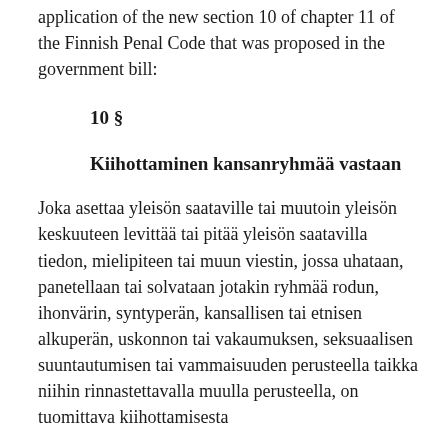application of the new section 10 of chapter 11 of the Finnish Penal Code that was proposed in the government bill:
10 §
Kiihottaminen kansanryhmää vastaan
Joka asettaa yleisön saataville tai muutoin yleisön keskuuteen levittää tai pitää yleisön saatavilla tiedon, mielipiteen tai muun viestin, jossa uhataan, panetellaan tai solvataan jotakin ryhmää rodun, ihonvärin, syntyperän, kansallisen tai etnisen alkuperän, uskonnon tai vakaumuksen, seksuaalisen suuntautumisen tai vammaisuuden perusteella taikka niihin rinnastettavalla muulla perusteella, on tuomittava kiihottamisesta